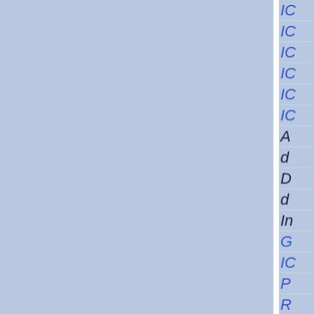[Figure (other): Navigation sidebar panel with two columns separated by a white vertical divider. Left column shows a light blue background. Right column shows a list of navigation items in italic blue and dark text, partially cropped: IC, IC, IC, IC, IC, IC, A, d, D, d, In, G, IC, P, R, R]
IC
IC
IC
IC
IC
IC
A
d
D
d
In
G
IC
P
R
R